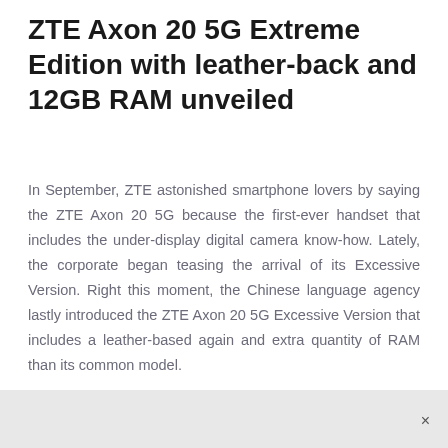ZTE Axon 20 5G Extreme Edition with leather-back and 12GB RAM unveiled
In September, ZTE astonished smartphone lovers by saying the ZTE Axon 20 5G because the first-ever handset that includes the under-display digital camera know-how. Lately, the corporate began teasing the arrival of its Excessive Version. Right this moment, the Chinese language agency lastly introduced the ZTE Axon 20 5G Excessive Version that includes a leather-based again and extra quantity of RAM than its common model.